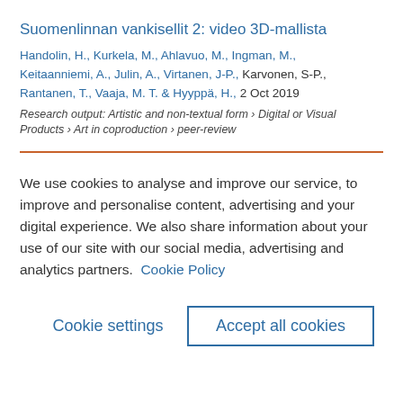Suomenlinnan vankisellit 2: video 3D-mallista
Handolin, H., Kurkela, M., Ahlavuo, M., Ingman, M., Keitaanniemi, A., Julin, A., Virtanen, J-P., Karvonen, S-P., Rantanen, T., Vaaja, M. T. & Hyyppä, H., 2 Oct 2019
Research output: Artistic and non-textual form › Digital or Visual Products › Art in coproduction › peer-review
We use cookies to analyse and improve our service, to improve and personalise content, advertising and your digital experience. We also share information about your use of our site with our social media, advertising and analytics partners.  Cookie Policy
Cookie settings
Accept all cookies